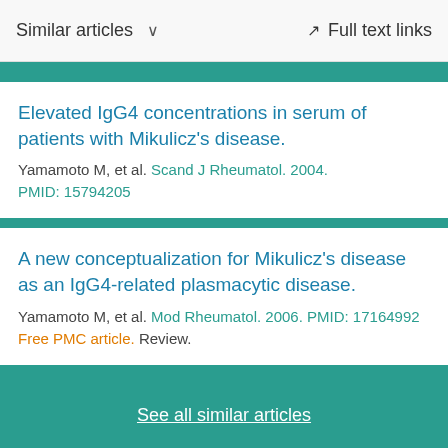Similar articles  ∨  Full text links
Elevated IgG4 concentrations in serum of patients with Mikulicz's disease.
Yamamoto M, et al. Scand J Rheumatol. 2004.
PMID: 15794205
A new conceptualization for Mikulicz's disease as an IgG4-related plasmacytic disease.
Yamamoto M, et al. Mod Rheumatol. 2006. PMID: 17164992
Free PMC article. Review.
See all similar articles